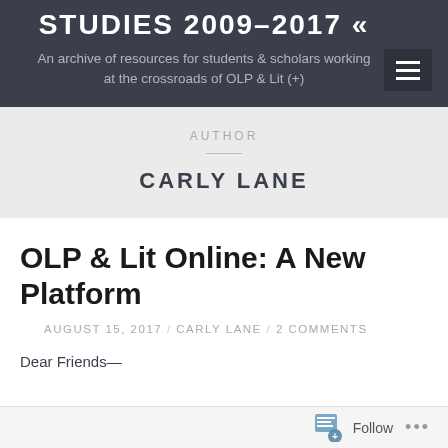STUDIES 2009–2017 «
An archive of resources for students & scholars working at the crossroads of OLP & Lit (+)
AUTHOR
CARLY LANE
OLP & Lit Online: A New Platform
AUGUST 15, 2017 / CARLY LANE / 2 COMMENTS
Dear Friends—